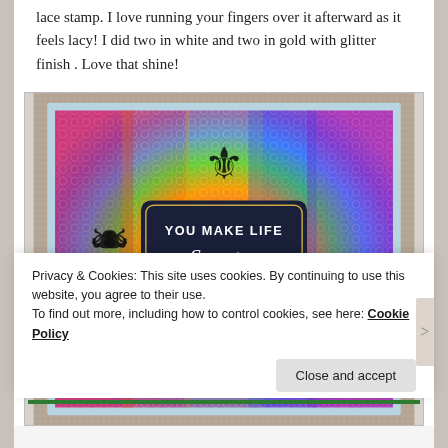lace stamp. I love running your fingers over it afterward as it feels lacy! I did two in white and two in gold with glitter finish . Love that shine!
[Figure (photo): A handmade greeting card featuring a rainbow-colored lace-stamped background with a dark navy label in the center reading 'YOU MAKE LIFE Sweeter' surrounded by decorative black scrollwork flourishes. The card is matted on a light blue layer and mounted on a burlap-textured background.]
Privacy & Cookies: This site uses cookies. By continuing to use this website, you agree to their use.
To find out more, including how to control cookies, see here: Cookie Policy
Close and accept